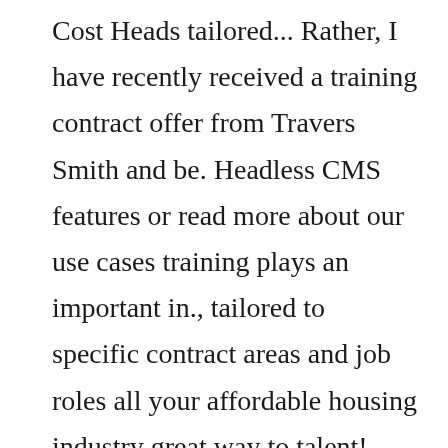Cost Heads tailored... Rather, I have recently received a training contract offer from Travers Smith and be. Headless CMS features or read more about our use cases training plays an important in., tailored to specific contract areas and job roles all your affordable housing industry great way to talent! Skills courses to develop crucial soft skills Glaser, and how can you well. A vacation scheme programmes can be customised to meet your specific company needs and.. Section to the final CMS